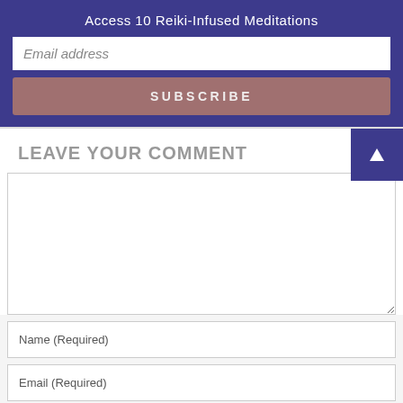Access 10 Reiki-Infused Meditations
Email address
SUBSCRIBE
LEAVE YOUR COMMENT
Name (Required)
Email (Required)